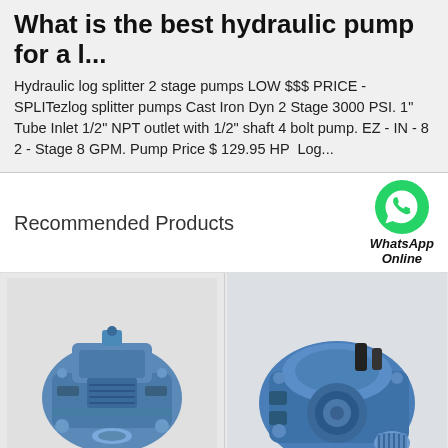What is the best hydraulic pump for a l...
Hydraulic log splitter 2 stage pumps LOW $$$ PRICE - SPLITezlog splitter pumps Cast Iron Dyn 2 Stage 3000 PSI. 1" Tube Inlet 1/2" NPT outlet with 1/2" shaft 4 bolt pump. EZ - IN - 8 2 - Stage 8 GPM. Pump Price $ 129.95 HP  Log...
Recommended Products
[Figure (photo): Blue hydraulic pump, left product image]
[Figure (logo): WhatsApp green phone icon with text WhatsApp Online]
[Figure (photo): Blue hydraulic pump, right product image]
All Products
Contact Now